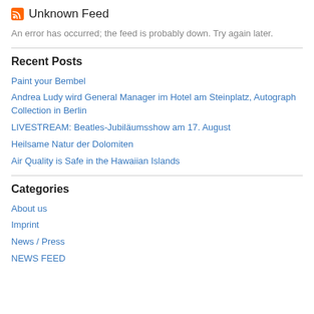Unknown Feed
An error has occurred; the feed is probably down. Try again later.
Recent Posts
Paint your Bembel
Andrea Ludy wird General Manager im Hotel am Steinplatz, Autograph Collection in Berlin
LIVESTREAM: Beatles-Jubiläumsshow am 17. August
Heilsame Natur der Dolomiten
Air Quality is Safe in the Hawaiian Islands
Categories
About us
Imprint
News / Press
NEWS FEED